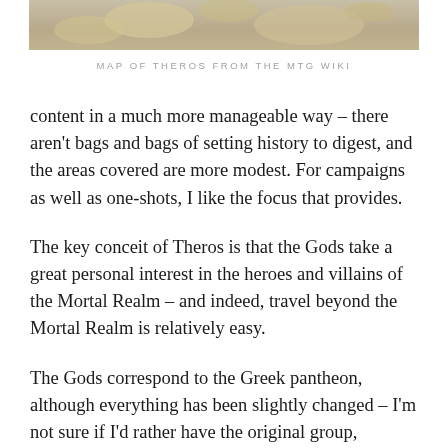[Figure (photo): Top portion of a map of Theros from the MTG Wiki, showing partial landmasses with beige/gold coloring on a light background]
MAP OF THEROS FROM THE MTG WIKI
content in a much more manageable way – there aren't bags and bags of setting history to digest, and the areas covered are more modest. For campaigns as well as one-shots, I like the focus that provides.
The key conceit of Theros is that the Gods take a great personal interest in the heroes and villains of the Mortal Realm – and indeed, travel beyond the Mortal Realm is relatively easy.
The Gods correspond to the Greek pantheon, although everything has been slightly changed – I'm not sure if I'd rather have the original group, although they've added some twists to make each one have